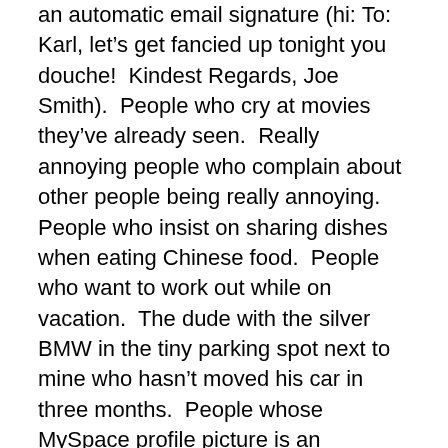an automatic email signature (hi: To: Karl, let's get fancied up tonight you douche!  Kindest Regards, Joe Smith).  People who cry at movies they've already seen.  Really annoying people who complain about other people being really annoying.  People who insist on sharing dishes when eating Chinese food.  People who want to work out while on vacation.  The dude with the silver BMW in the tiny parking spot next to mine who hasn't moved his car in three months.  People whose MySpace profile picture is an inanimate object or landscape.  And, finally, anyone who watches, tapes, supports, discusses, follows, votes for, or otherwise enjoys American Idol.  Phew!  That felt good to get off my chest.
-I want to give a shout-out to my sister Caryn, who celebrated her birthday last week.  My sis proofreads all my columns before I email them out, something she might